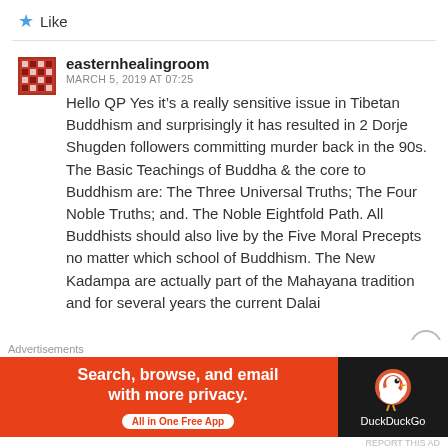★ Like
easternhealingroom
MARCH 5, 2019 AT 07:25
Hello QP Yes it's a really sensitive issue in Tibetan Buddhism and surprisingly it has resulted in 2 Dorje Shugden followers committing murder back in the 90s. The Basic Teachings of Buddha & the core to Buddhism are: The Three Universal Truths; The Four Noble Truths; and. The Noble Eightfold Path. All Buddhists should also live by the Five Moral Precepts no matter which school of Buddhism. The New Kadampa are actually part of the Mahayana tradition and for several years the current Dalai
Advertisements
[Figure (screenshot): DuckDuckGo advertisement banner: orange background with text 'Search, browse, and email with more privacy. All in One Free App' and DuckDuckGo logo on dark background on the right side.]